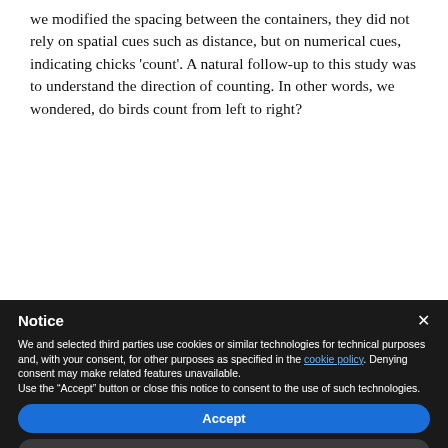we modified the spacing between the containers, they did not rely on spatial cues such as distance, but on numerical cues, indicating chicks ‘count’. A natural follow-up to this study was to understand the direction of counting. In other words, we wondered, do birds count from left to right?
[Figure (photo): Partial view of colorful objects/beads arranged in a row — reds, blues, purples, yellows, greens visible]
Notice
We and selected third parties use cookies or similar technologies for technical purposes and, with your consent, for other purposes as specified in the cookie policy. Denying consent may make related features unavailable.
Use the “Accept” button or close this notice to consent to the use of such technologies.
Accept
Learn more and customize